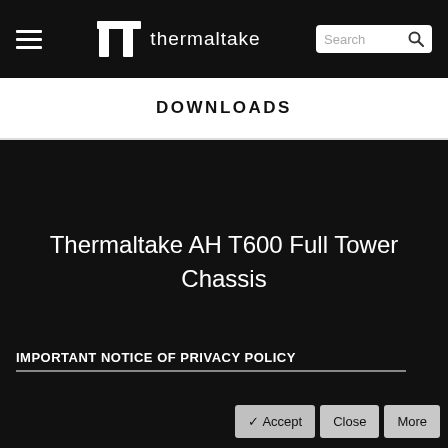thermaltake
DOWNLOADS
Thermaltake AH T600 Full Tower Chassis
IMPORTANT NOTICE OF PRIVACY POLICY